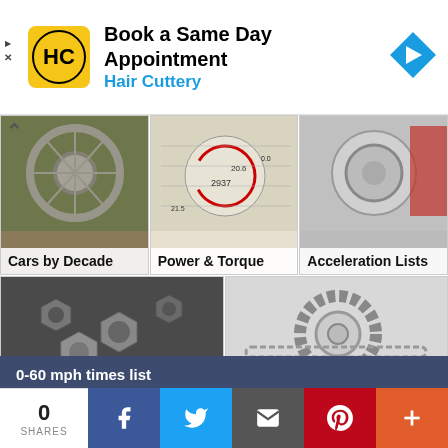[Figure (infographic): Hair Cuttery advertisement banner: logo with HC initials on yellow background, text 'Book a Same Day Appointment' and 'Hair Cuttery', blue navigation arrow icon on right]
[Figure (photo): Cars by Decade - motorcycle wheel photo]
Cars by Decade
[Figure (photo): Power & Torque - gauges and charts photo]
Power & Torque
[Figure (photo): Acceleration Lists - car wheel photo]
Acceleration Lists
[Figure (photo): Miscellaneous - nuts and bolts photo]
Miscellaneous
[Figure (photo): Useful Links - timing chain and sprocket gear photo]
Useful Links
0-60 mph times list
0-60 mph times | Random Figures and Specs
[Figure (infographic): Social share bar: 0 SHARES, Facebook, Twitter, Email, Pinterest, More buttons]